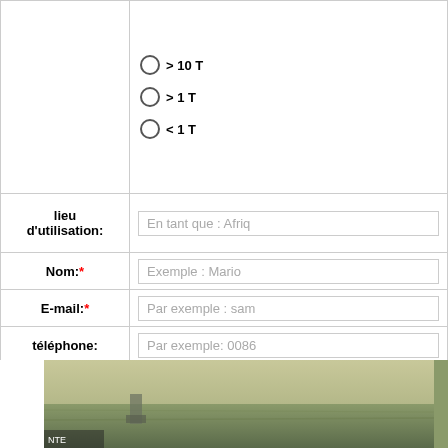| Label | Value |
| --- | --- |
|  | > 10 T | > 1 T | < 1 T |
| lieu d'utilisation: | En tant que : Afriq... |
| Nom:* | Exemple : Mario |
| E-mail:* | Par exemple : sam... |
| téléphone: | Par exemple: 0086... |
| un message:* | En tant que: taille de sortie co... pour le concassage ou 75 mic... machine de broyage et dautre... |
|  | Soumettre m... |
[Figure (photo): Aerial or outdoor photo of industrial/mining site, showing equipment and terrain in muted green-brown tones.]